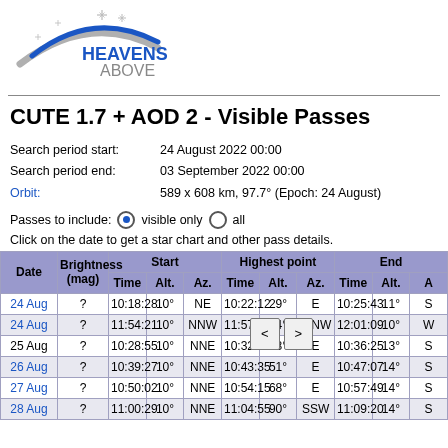[Figure (logo): Heavens-Above logo with stars and arc]
CUTE 1.7 + AOD 2 - Visible Passes
Search period start: 24 August 2022 00:00
Search period end: 03 September 2022 00:00
Orbit: 589 x 608 km, 97.7° (Epoch: 24 August)
Passes to include:  visible only  all
Click on the date to get a star chart and other pass details.
| Date | Brightness (mag) | Start Time | Start Alt. | Start Az. | Highest point Time | Highest point Alt. | Highest point Az. | End Time | End Alt. | End Az. |
| --- | --- | --- | --- | --- | --- | --- | --- | --- | --- | --- |
| 24 Aug | ? | 10:18:28 | 10° | NE | 10:22:12 | 29° | E | 10:25:43 | 11° | S |
| 24 Aug | ? | 11:54:21 | 10° | NNW | 11:57:45 | 24° | WNW | 12:01:09 | 10° | W |
| 25 Aug | ? | 10:28:55 | 10° | NNE | 10:32:54 | 38° | E | 10:36:25 | 13° | S |
| 26 Aug | ? | 10:39:27 | 10° | NNE | 10:43:35 | 51° | E | 10:47:07 | 14° | S |
| 27 Aug | ? | 10:50:02 | 10° | NNE | 10:54:15 | 68° | E | 10:57:49 | 14° | S |
| 28 Aug | ? | 11:00:29 | 10° | NNE | 11:04:55 | 90° | SSW | 11:09:20 | 14° | S |